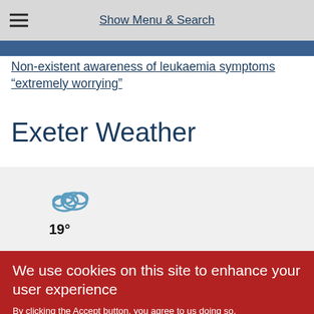Show Menu & Search
Non-existent awareness of leukaemia symptoms “extremely worrying”
Exeter Weather
[Figure (illustration): Weather widget showing a cloudy sky icon above the temperature reading 19°]
We use cookies on this site to enhance your user experience
By clicking the Accept button, you agree to us doing so.
No, give me more info
Manage preferences
Accept all cookies